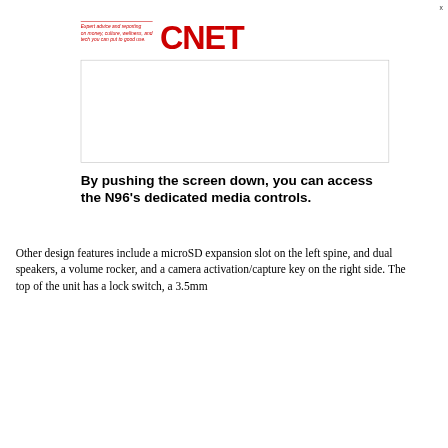Expert advice and reporting on money, culture, wellness, and tech you can put to good use. CNET
[Figure (other): White rectangular advertisement box with border]
By pushing the screen down, you can access the N96's dedicated media controls.
Other design features include a microSD expansion slot on the left spine, and dual speakers, a volume rocker, and a camera activation/capture key on the right side. The top of the unit has a lock switch, a 3.5mm